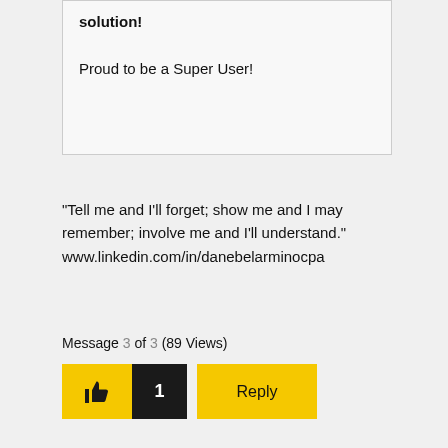solution!
Proud to be a Super User!
"Tell me and I'll forget; show me and I may remember; involve me and I'll understand." www.linkedin.com/in/danebelarminocpa
Message 3 of 3 (89 Views)
[Figure (other): Like button with thumbs up icon and count of 1, plus a Reply button, both in yellow/black color scheme]